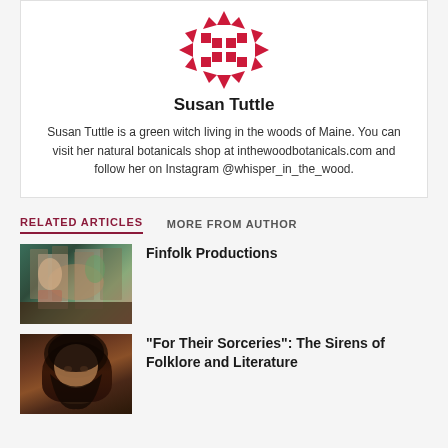[Figure (logo): Red geometric snowflake/star quilt-pattern logo]
Susan Tuttle
Susan Tuttle is a green witch living in the woods of Maine. You can visit her natural botanicals shop at inthewoodbotanicals.com and follow her on Instagram @whisper_in_the_wood.
RELATED ARTICLES
MORE FROM AUTHOR
[Figure (photo): Interior of a bohemian shop with shelves, plants, and colorful decor]
Finfolk Productions
[Figure (photo): Pre-Raphaelite style painting of a dark-haired woman, romantic/mythological theme]
“For Their Sorceries”: The Sirens of Folklore and Literature